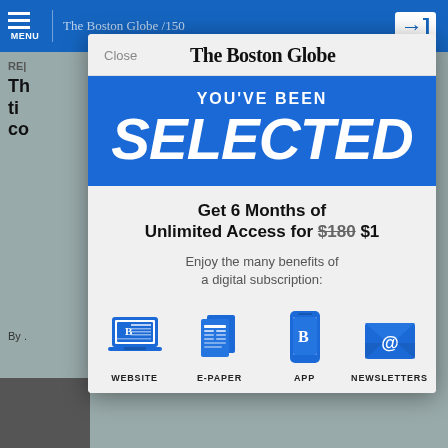[Figure (screenshot): Boston Globe website screenshot showing a subscription modal overlay with 'YOU'VE BEEN SELECTED' promotion offering 6 months of unlimited access for $1, with icons for Website, E-Paper, App, and Newsletters.]
The Boston Globe
YOU'VE BEEN
SELECTED
Get 6 Months of Unlimited Access for $180 $1
Enjoy the many benefits of a digital subscription:
WEBSITE
E-PAPER
APP
NEWSLETTERS